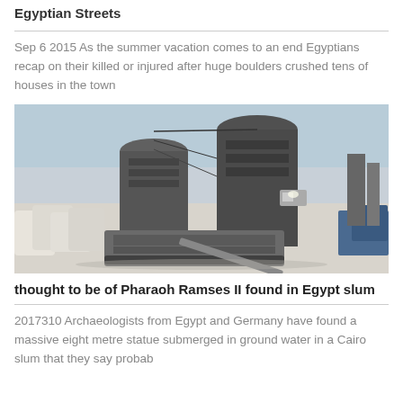Egyptian Streets
Sep 6 2015 As the summer vacation comes to an end Egyptians recap on their killed or injured after huge boulders crushed tens of houses in the town
[Figure (photo): Industrial machinery or equipment scene, possibly a factory or construction site with large cylindrical structures, bags of material, and heavy equipment on a dusty or sandy ground.]
thought to be of Pharaoh Ramses II found in Egypt slum
2017310 Archaeologists from Egypt and Germany have found a massive eight metre statue submerged in ground water in a Cairo slum that they say probab